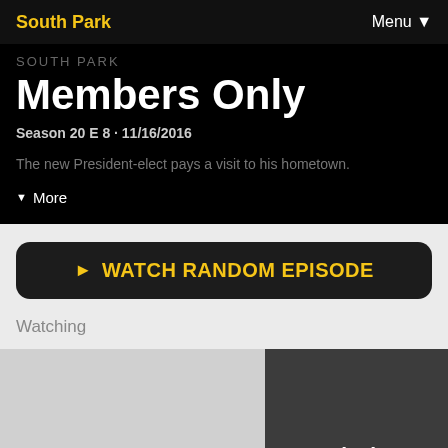South Park | Menu
SOUTH PARK
Members Only
Season 20 E 8 · 11/16/2016
The new President-elect pays a visit to his hometown.
▼ More
▶ WATCH RANDOM EPISODE
Watching
[Figure (screenshot): Light gray placeholder thumbnail on the left and a dark gray panel on the right with 'Now Playing' text]
Now Playing